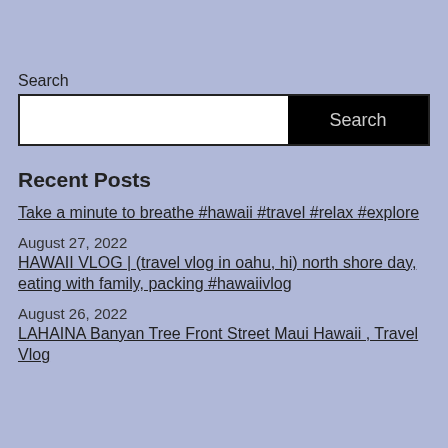Search
[Figure (screenshot): Search input box with white text field on left and black Search button on right]
Recent Posts
Take a minute to breathe #hawaii #travel #relax #explore
August 27, 2022
HAWAII VLOG | (travel vlog in oahu, hi) north shore day, eating with family, packing #hawaiivlog
August 26, 2022
LAHAINA Banyan Tree Front Street Maui Hawaii , Travel Vlog